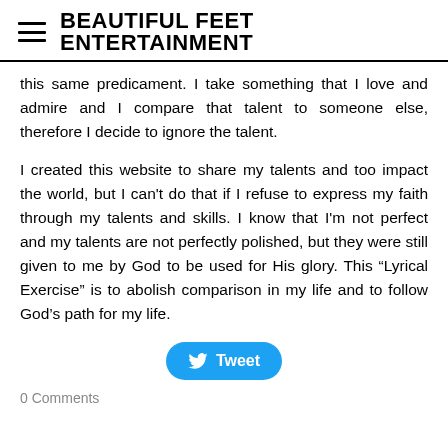BEAUTIFUL FEET ENTERTAINMENT
this same predicament. I take something that I love and admire and I compare that talent to someone else, therefore I decide to ignore the talent.
I created this website to share my talents and too impact the world, but I can't do that if I refuse to express my faith through my talents and skills. I know that I'm not perfect and my talents are not perfectly polished, but they were still given to me by God to be used for His glory. This “Lyrical Exercise” is to abolish comparison in my life and to follow God’s path for my life.
[Figure (other): Twitter Tweet button]
0 Comments